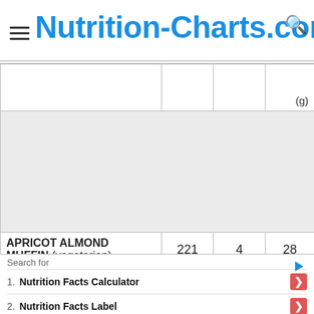Nutrition-Charts.com
|  |  |  | (g) |
| --- | --- | --- | --- |
|  |  |  |  |
| APRICOT ALMOND MUFFIN (vegetarian) | 221 | 4 | 28 |
Search for
1. Nutrition Facts Calculator
2. Nutrition Facts Label
Yahoo! Search | Sponsored